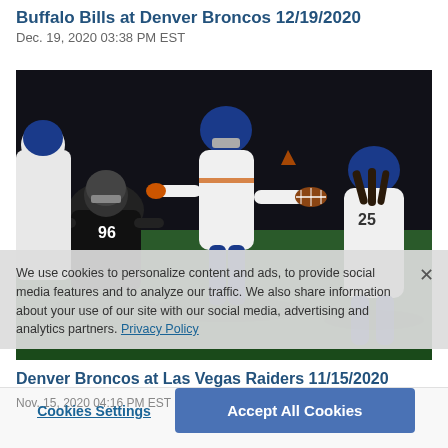Buffalo Bills at Denver Broncos 12/19/2020
Dec. 19, 2020 03:38 PM EST
[Figure (photo): NFL football game action photo showing Denver Broncos quarterback running with the ball, with Las Vegas Raiders defenders (including #96) pursuing, and a Broncos running back (#25) nearby, taken during a night game.]
We use cookies to personalize content and ads, to provide social media features and to analyze our traffic. We also share information about your use of our site with our social media, advertising and analytics partners. Privacy Policy
Denver Broncos at Las Vegas Raiders 11/15/2020
Nov. 15, 2020 04:16 PM EST
Cookies Settings
Accept All Cookies